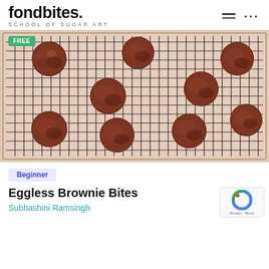fondbites SCHOOL OF SUGAR ART
[Figure (photo): Eggless brownie bites arranged on a wire cooling rack on a baking tray. Nine round chocolate brownie bites visible on a grid cooling rack. A green FREE badge is at the top-left of the image.]
Beginner
Eggless Brownie Bites
Subhashini Ramsingh